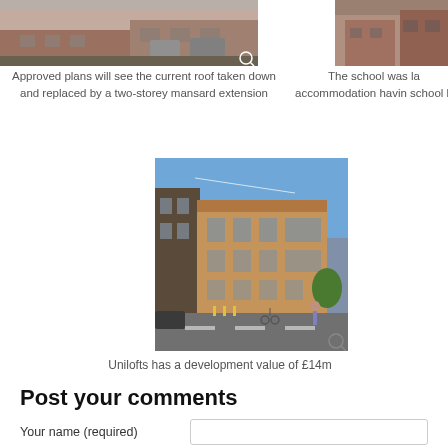[Figure (photo): Partial view of a building roofline, cropped at top of page, left side]
[Figure (photo): Partial view of a building, cropped at top of page, right side]
Approved plans will see the current roof taken down and replaced by a two-storey mansard extension
The school was la accommodation havin school b
[Figure (photo): Architectural rendering of a large Victorian-era sandstone school building with a two-storey mansard extension, street view with road and cyclist visible]
Unilofts has a development value of £14m
Post your comments
Your name (required)
Your email (not displayed)